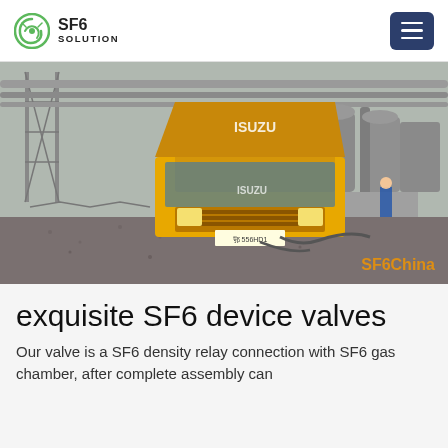SF6 SOLUTION
[Figure (photo): A yellow Isuzu box truck parked at an industrial electrical substation site with large cylindrical equipment and metal structures in the background. Watermark text 'SF6China' in orange at bottom right.]
exquisite SF6 device valves
Our valve is a SF6 density relay connection with SF6 gas chamber, after complete assembly can